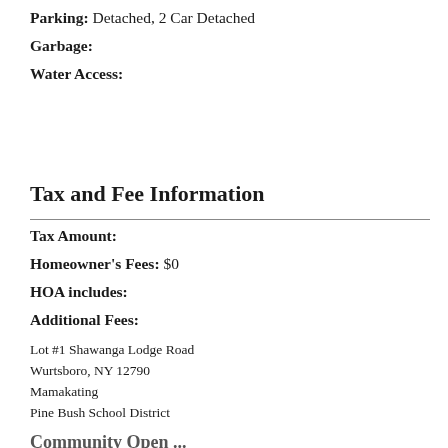Parking: Detached, 2 Car Detached
Garbage:
Water Access:
Tax and Fee Information
Tax Amount:
Homeowner's Fees: $0
HOA includes:
Additional Fees:
Lot #1 Shawanga Lodge Road
Wurtsboro, NY 12790
Mamakating
Pine Bush School District
Community Open ...